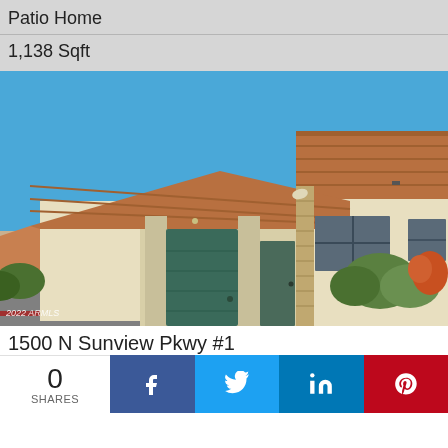Patio Home
1,138 Sqft
[Figure (photo): Exterior photo of a single-story patio home with terracotta tile roof, stucco walls, covered carport with green garage doors, brick accents, windows with desert landscaping, and clear blue sky. Watermark: 2022 ARMLS]
1500 N Sunview Pkwy #1
0 SHARES
[Figure (infographic): Social share bar with Facebook, Twitter, LinkedIn, and Pinterest icons]